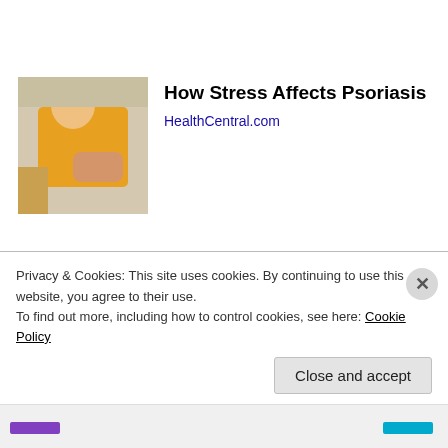[Figure (photo): Woman in yellow sweater scratching her arm, illustrating psoriasis]
How Stress Affects Psoriasis
HealthCentral.com
[Figure (photo): Crowded grocery store aisle with shoppers and carts]
Seniors Get Up To $900 For Groceries
bestmedicareplans.com
Privacy & Cookies: This site uses cookies. By continuing to use this website, you agree to their use.
To find out more, including how to control cookies, see here: Cookie Policy
Close and accept